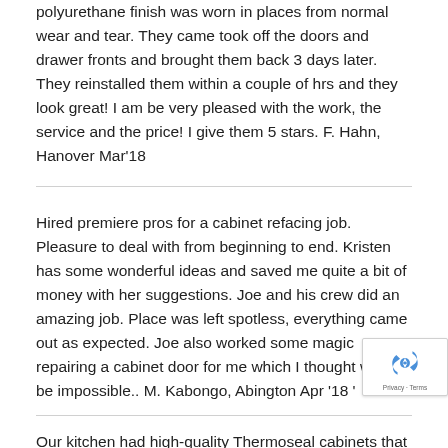polyurethane finish was worn in places from normal wear and tear.  They came took off the doors and drawer fronts and brought them back 3 days later. They reinstalled them within a couple of hrs and they look great! I am be very pleased with the work, the service and the price!  I give them 5 stars.  F. Hahn, Hanover  Mar'18
Hired premiere pros for a cabinet refacing job. Pleasure to deal with from beginning to end. Kristen has some wonderful ideas and saved me quite a bit of money with her suggestions.  Joe and his crew did an amazing job. Place was left spotless, everything came out as expected. Joe also worked some magic repairing a cabinet door for me which I thought would be impossible..   M. Kabongo, Abington     Apr '18 '
Our kitchen had high-quality Thermoseal cabinets that were 20